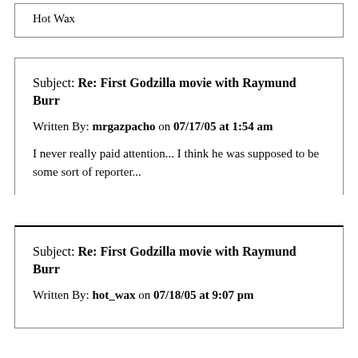Hot Wax
Subject: Re: First Godzilla movie with Raymund Burr
Written By: mrgazpacho on 07/17/05 at 1:54 am
I never really paid attention... I think he was supposed to be some sort of reporter...
Subject: Re: First Godzilla movie with Raymund Burr
Written By: hot_wax on 07/18/05 at 9:07 pm